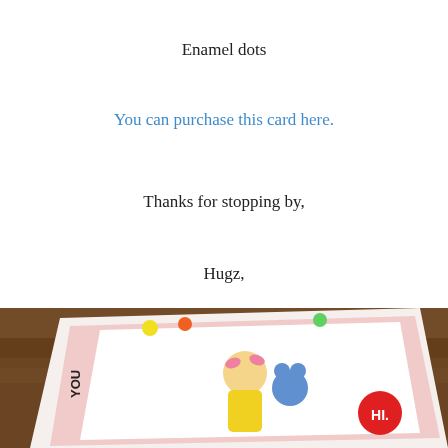Enamel dots
You can purchase this card here.
Thanks for stopping by,
Hugz,
Jess
May 24, 2015   4 Replies
[Figure (photo): A handmade greeting card on a wooden table featuring an illustrated girl in a yellow dress holding a blue teddy bear, with pink decorative borders and colourful enamel dots, and a red circular HI badge.]